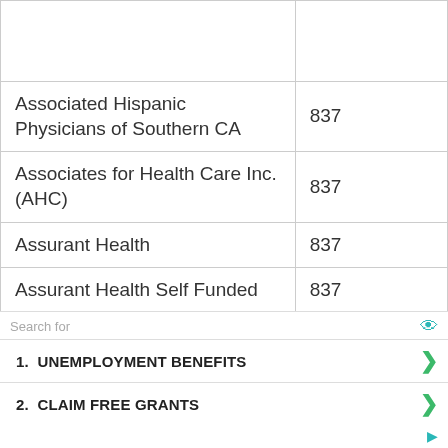|  |  |
| --- | --- |
|  |  |
| Associated Hispanic Physicians of Southern CA | 837 |
| Associates for Health Care Inc. (AHC) | 837 |
| Assurant Health | 837 |
| Assurant Health Self Funded | 837 |
Search for
1.  UNEMPLOYMENT BENEFITS
2.  CLAIM FREE GRANTS